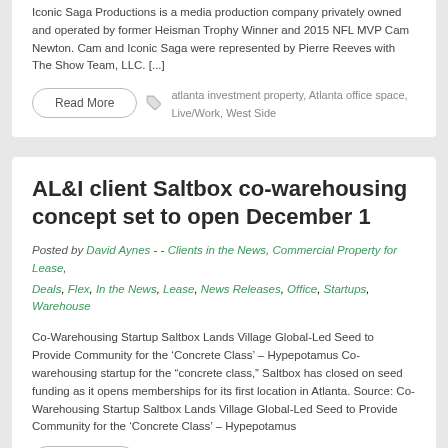Iconic Saga Productions is a media production company privately owned and operated by former Heisman Trophy Winner and 2015 NFL MVP Cam Newton. Cam and Iconic Saga were represented by Pierre Reeves with The Show Team, LLC. [...]
Read More
atlanta investment property, Atlanta office space, Live/Work, West Side
AL&I client Saltbox co-warehousing concept set to open December 1
Posted by David Aynes - - Clients in the News, Commercial Property for Lease, Deals, Flex, In the News, Lease, News Releases, Office, Startups, Warehouse
Co-Warehousing Startup Saltbox Lands Village Global-Led Seed to Provide Community for the ‘Concrete Class’ – Hypepotamus Co-warehousing startup for the “concrete class,” Saltbox has closed on seed funding as it opens memberships for its first location in Atlanta. Source: Co-Warehousing Startup Saltbox Lands Village Global-Led Seed to Provide Community for the ‘Concrete Class’ – Hypepotamus
Read More
Intown, West Side
AL&I Re...